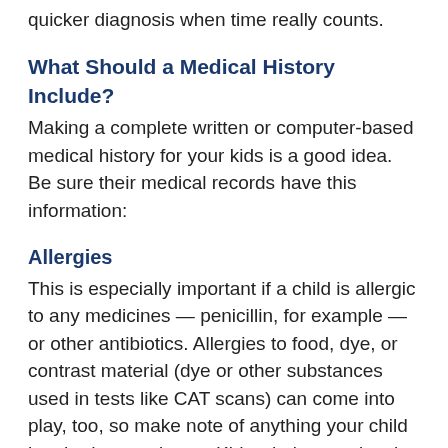quicker diagnosis when time really counts.
What Should a Medical History Include?
Making a complete written or computer-based medical history for your kids is a good idea. Be sure their medical records have this information:
Allergies
This is especially important if a child is allergic to any medicines — penicillin, for example — or other antibiotics. Allergies to food, dye, or contrast material (dye or other substances used in tests like CAT scans) can come into play, too, so make note of anything your child has had a reaction to. Kids who've previously been hospitalized may have developed latex allergies.
This information can sometimes help emergency personnel find a cause for problems such as breathing